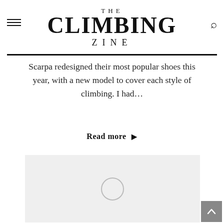THE CLIMBING ZINE
Scarpa redesigned their most popular shoes this year, with a new model to cover each style of climbing. I had…
Read more ▶
[Figure (photo): Gray placeholder image with a circular loading spinner in the center]
[Figure (other): Gray scroll-to-top button with upward arrow in bottom-right corner]